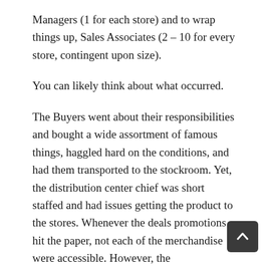Managers (1 for each store) and to wrap things up, Sales Associates (2 – 10 for every store, contingent upon size).
You can likely think about what occurred.
The Buyers went about their responsibilities and bought a wide assortment of famous things, haggled hard on the conditions, and had them transported to the stockroom. Yet, the distribution center chief was short staffed and had issues getting the product to the stores. Whenever the deals promotions hit the paper, not each of the merchandise were accessible. However, the advertisements were great and clients came into the stores. Sadly the drained deals staff was too caught up with doing stock counts for the apprehensive purchasers to be of any genuine assistance to the